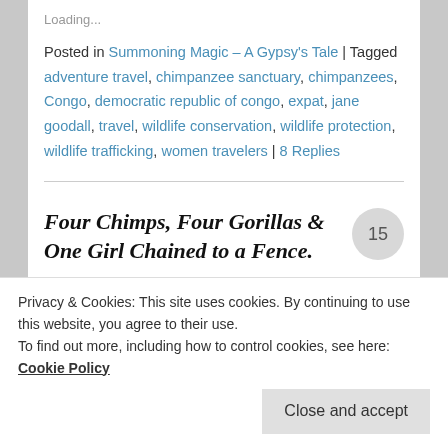Loading...
Posted in Summoning Magic – A Gypsy's Tale | Tagged adventure travel, chimpanzee sanctuary, chimpanzees, Congo, democratic republic of congo, expat, jane goodall, travel, wildlife conservation, wildlife protection, wildlife trafficking, women travelers | 8 Replies
Four Chimps, Four Gorillas & One Girl Chained to a Fence.
Posted on August 26, 2018
Privacy & Cookies: This site uses cookies. By continuing to use this website, you agree to their use.
To find out more, including how to control cookies, see here: Cookie Policy